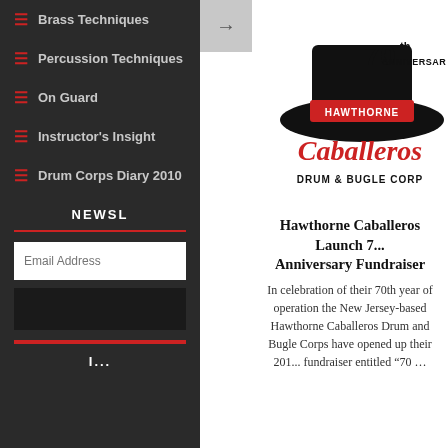Brass Techniques
Percussion Techniques
On Guard
Instructor's Insight
Drum Corps Diary 2010
NEWSL
Email Address
[Figure (logo): Hawthorne Caballeros 70th Anniversary Drum & Bugle Corps logo with hat graphic, red script lettering and black bold type]
Hawthorne Caballeros Launch 7... Anniversary Fundraiser
In celebration of their 70th year of operation the New Jersey-based Hawthorne Caballeros Drum and Bugle Corps have opened up their 201... fundraiser entitled "70 ...